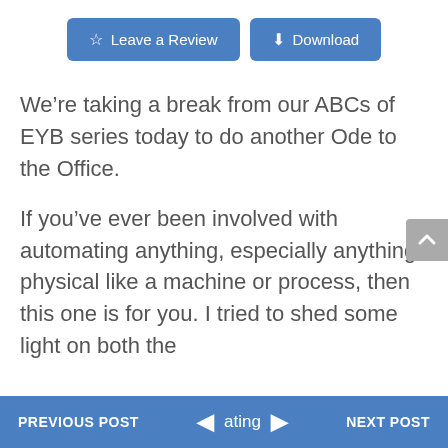[Figure (other): Two blue buttons: 'Leave a Review' with star icon and 'Download' with download icon]
We're taking a break from our ABCs of EYB series today to do another Ode to the Office.
If you've ever been involved with automating anything, especially anything physical like a machine or process, then this one is for you. I tried to shed some light on both the
PREVIOUS POST   ◄   ating   ►   NEXT POST